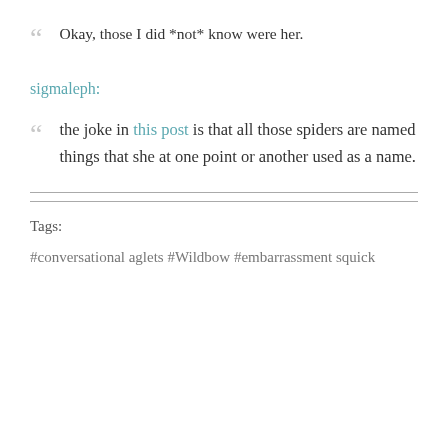Okay, those I did *not* know were her.
sigmaleph:
the joke in this post is that all those spiders are named things that she at one point or another used as a name.
Tags:
#conversational aglets #Wildbow #embarrassment squick